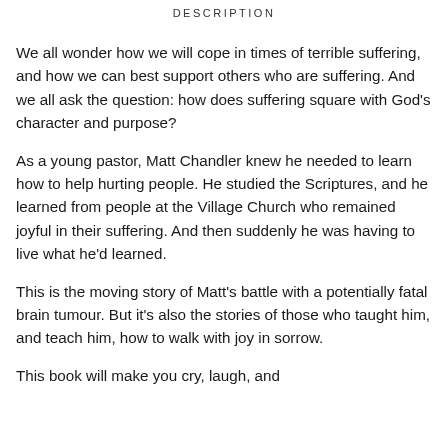DESCRIPTION
We all wonder how we will cope in times of terrible suffering, and how we can best support others who are suffering. And we all ask the question: how does suffering square with God's character and purpose?
As a young pastor, Matt Chandler knew he needed to learn how to help hurting people. He studied the Scriptures, and he learned from people at the Village Church who remained joyful in their suffering. And then suddenly he was having to live what he'd learned.
This is the moving story of Matt's battle with a potentially fatal brain tumour. But it's also the stories of those who taught him, and teach him, how to walk with joy in sorrow.
This book will make you cry, laugh, and